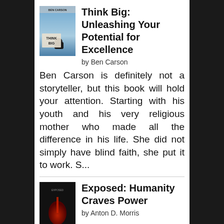[Figure (illustration): Book cover of Think Big: Unleashing Your Potential for Excellence by Ben Carson - blue sky background with a person sitting]
Think Big: Unleashing Your Potential for Excellence
by Ben Carson
Ben Carson is definitely not a storyteller, but this book will hold your attention. Starting with his youth and his very religious mother who made all the difference in his life. She did not simply have blind faith, she put it to work. S...
[Figure (illustration): Book cover of Exposed: Humanity Craves Power by Anton D. Morris - dark cover with red text]
Exposed: Humanity Craves Power
by Anton D. Morris
I will not rate my book. However, someone challenged me to read it one year after publication to see what I would change. First of all, I love the diversity of the female characters. They are each different and diverse in so many ways...